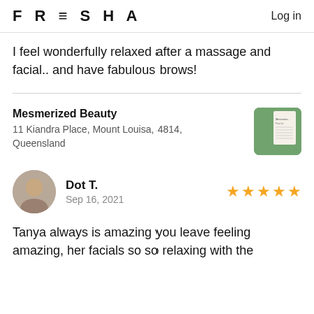FRESHA  Log in
I feel wonderfully relaxed after a massage and facial.. and have fabulous brows!
Mesmerized Beauty
11 Kiandra Place, Mount Louisa, 4814, Queensland
[Figure (photo): Thumbnail photo of Mesmerized Beauty business]
[Figure (photo): Circular avatar photo of reviewer Dot T.]
Dot T.
Sep 16, 2021
★★★★★ (5 stars)
Tanya always is amazing you leave feeling amazing, her facials so so relaxing with the